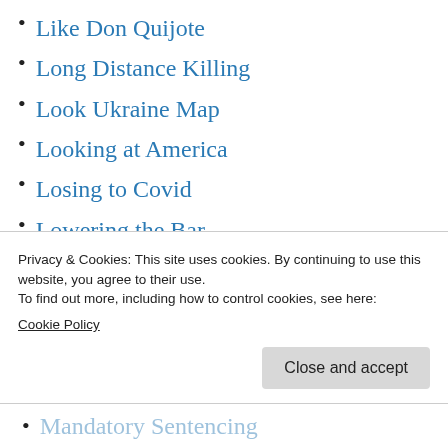Like Don Quijote
Long Distance Killing
Look Ukraine Map
Looking at America
Losing to Covid
Lowering the Bar
Loyal Russian Allies
Lucian Truscott Newsletter
Lying to Children
Lyndon Johnson's Betrayal
Mail-Order Coup d'Etat
Privacy & Cookies: This site uses cookies. By continuing to use this website, you agree to their use.
To find out more, including how to control cookies, see here:
Cookie Policy
Mandatory Sentencing